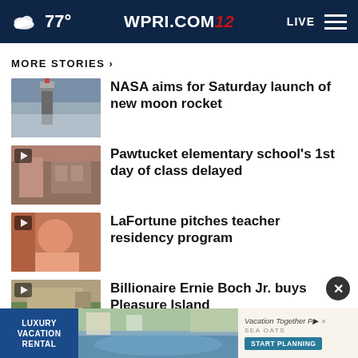77° WPRI.COM 12 LIVE
MORE STORIES ›
NASA aims for Saturday launch of new moon rocket
Pawtucket elementary school's 1st day of class delayed
LaFortune pitches teacher residency program
Billionaire Ernie Boch Jr. buys Pleasure Island
[Figure (screenshot): Advertisement banner: Luxury Vacation Rental with pool image and Sea Oats branding, Start Planning button]